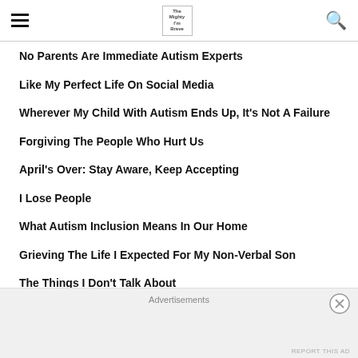hamburger menu | logo | search icon
No Parents Are Immediate Autism Experts
Like My Perfect Life On Social Media
Wherever My Child With Autism Ends Up, It's Not A Failure
Forgiving The People Who Hurt Us
April's Over: Stay Aware, Keep Accepting
I Lose People
What Autism Inclusion Means In Our Home
Grieving The Life I Expected For My Non-Verbal Son
The Things I Don't Talk About
Kicking You When You're Up
Advertisements